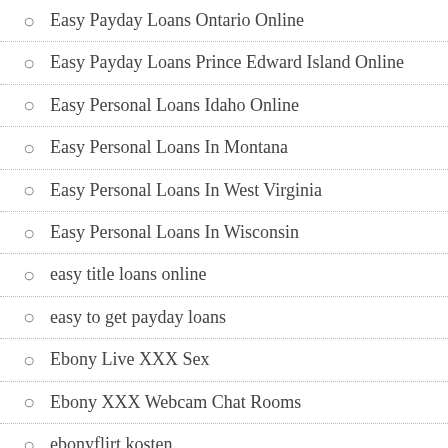Easy Payday Loans Ontario Online
Easy Payday Loans Prince Edward Island Online
Easy Personal Loans Idaho Online
Easy Personal Loans In Montana
Easy Personal Loans In West Virginia
Easy Personal Loans In Wisconsin
easy title loans online
easy to get payday loans
Ebony Live XXX Sex
Ebony XXX Webcam Chat Rooms
ebonyflirt kosten